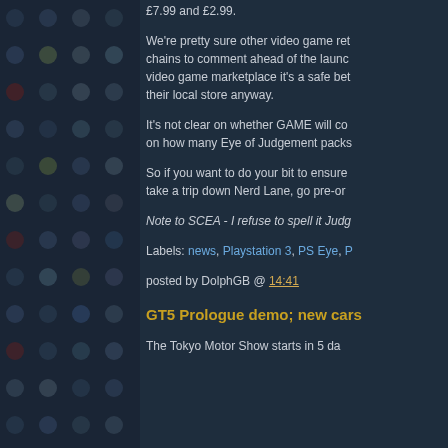£7.99 and £2.99.
We're pretty sure other video game retail chains to comment ahead of the launch video game marketplace it's a safe bet their local store anyway.
It's not clear on whether GAME will co on how many Eye of Judgement packs
So if you want to do your bit to ensure take a trip down Nerd Lane, go pre-ord
Note to SCEA - I refuse to spell it Judg
Labels: news, Playstation 3, PS Eye, P
posted by DolphGB @ 14:41
GT5 Prologue demo; new cars
The Tokyo Motor Show starts in 5 da